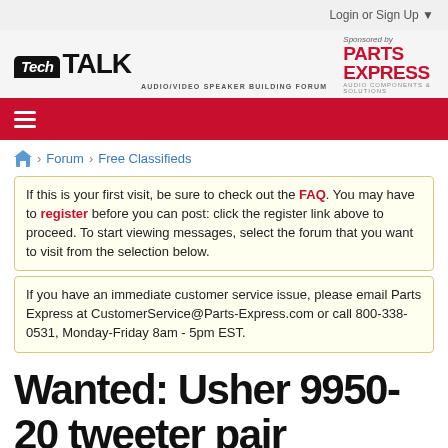Login or Sign Up ▼
[Figure (logo): Tech Talk Audio/Video Speaker Building Forum logo with Parts Express sponsorship logo]
Forum > Free Classifieds
If this is your first visit, be sure to check out the FAQ. You may have to register before you can post: click the register link above to proceed. To start viewing messages, select the forum that you want to visit from the selection below.
If you have an immediate customer service issue, please email Parts Express at CustomerService@Parts-Express.com or call 800-338-0531, Monday-Friday 8am - 5pm EST.
Wanted: Usher 9950-20 tweeter pair